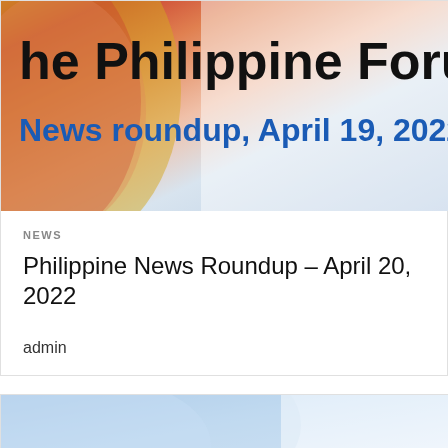[Figure (illustration): Banner image showing Philippine flag colors (red, blue, gold) with text 'he Philippine Foru' (partially cropped) and 'News roundup, April 19, 2022' in blue bold text on a gradient background]
NEWS
Philippine News Roundup – April 20, 2022
admin
[Figure (illustration): Partial banner image showing a blue and white gradient, likely the top of another article card]